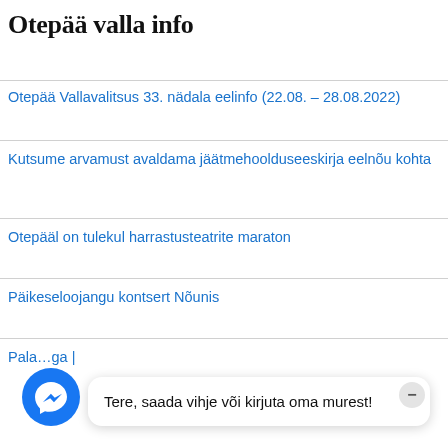Otepää valla info
Otepää Vallavalitsus 33. nädala eelinfo (22.08. – 28.08.2022)
Kutsume arvamust avaldama jäätmehoolduseeskirja eelnõu kohta
Otepääl on tulekul harrastusteatrite maraton
Päikeseloojangu kontsert Nõunis
Pala…ga |
Tere, saada vihje või kirjuta oma murest!